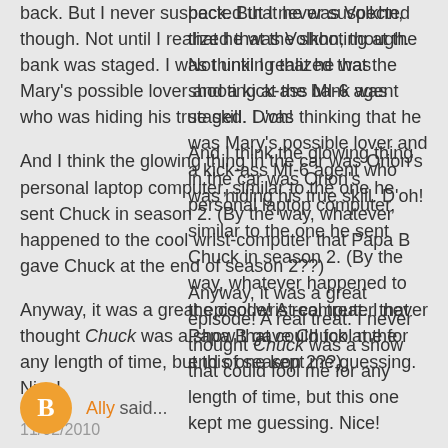back. But I never suspected that he was Volkhn, though. Not until I realized that the shooting at the bank was staged. I was thinking that he was Mary's possible lover and a kick-ass MI-6 agent who was hiding his true skill. D'oh!
And I think the glowing thing in the car was Orion's personal laptop computer, similar to the one he sent Chuck in season 2. (By the way, whatever happened to the cool wrist-computer that Papa B gave Chuck at the end of season 2??)
Anyway, it was a great episode! A real treat. I never thought Chuck was a show that could fool me for any length of time, but this one kept me guessing. Nice!
11/02/2010
Ally said...